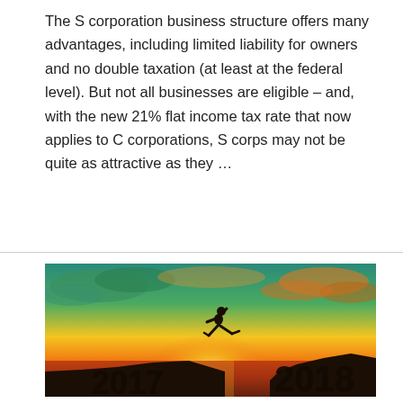The S corporation business structure offers many advantages, including limited liability for owners and no double taxation (at least at the federal level). But not all businesses are eligible – and, with the new 21% flat income tax rate that now applies to C corporations, S corps may not be quite as attractive as they …
Read More »
[Figure (photo): Silhouette of a person jumping from a cliff labeled 2017 to a cliff labeled 2018, against a dramatic golden sunset sky with clouds over water.]